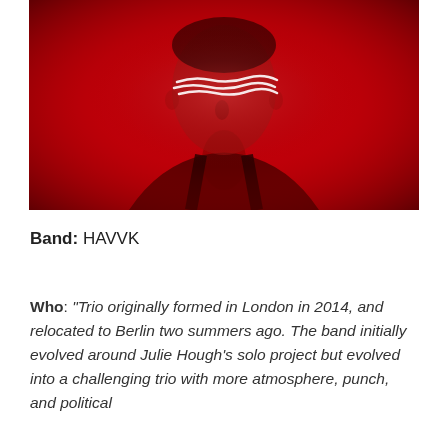[Figure (photo): A person photographed against a red background. Their face is partially obscured by white scrawled lines drawn over the eye area. They are wearing a dark tank top. The overall image is heavily red-toned.]
Band: HAVVK
Who: "Trio originally formed in London in 2014, and relocated to Berlin two summers ago. The band initially evolved around Julie Hough's solo project but evolved into a challenging trio with more atmosphere, punch, and political